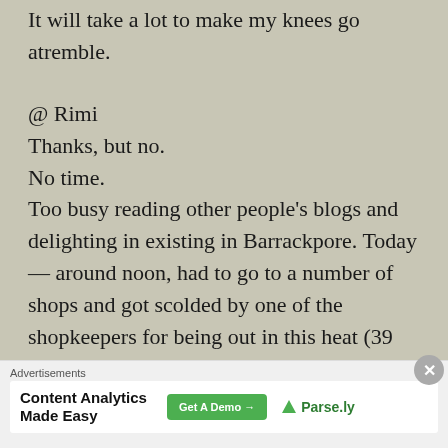It will take a lot to make my knees go atremble.
@ Rimi
Thanks, but no.
No time.
Too busy reading other people's blogs and delighting in existing in Barrackpore. Today — around noon, had to go to a number of shops and got scolded by one of the shopkeepers for being out in this heat (39 degrees centigrade).
[Figure (other): Advertisement banner: 'Content Analytics Made Easy' with a green 'Get A Demo →' button and Parse.ly logo]